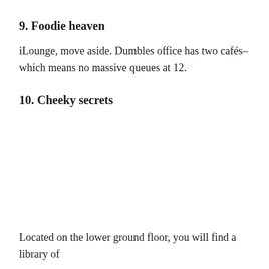9. Foodie heaven
iLounge, move aside. Dumbles office has two cafés– which means no massive queues at 12.
10. Cheeky secrets
Located on the lower ground floor, you will find a library of